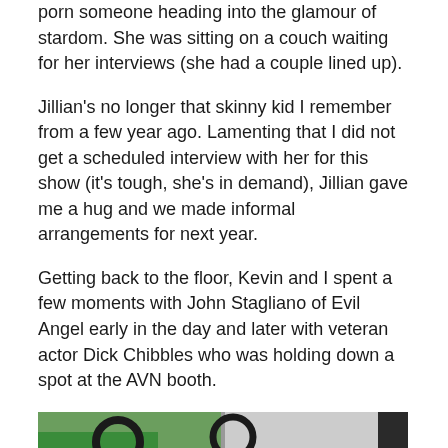porn someone heading into the glamour of stardom. She was sitting on a couch waiting for her interviews (she had a couple lined up).
Jillian's no longer that skinny kid I remember from a few year ago. Lamenting that I did not get a scheduled interview with her for this show (it's tough, she's in demand), Jillian gave me a hug and we made informal arrangements for next year.
Getting back to the floor, Kevin and I spent a few moments with John Stagliano of Evil Angel early in the day and later with veteran actor Dick Chibbles who was holding down a spot at the AVN booth.
[Figure (photo): Two bald men at what appears to be an event or convention booth, with green branded signage visible in the background including MFC/MyFreeCams logos.]